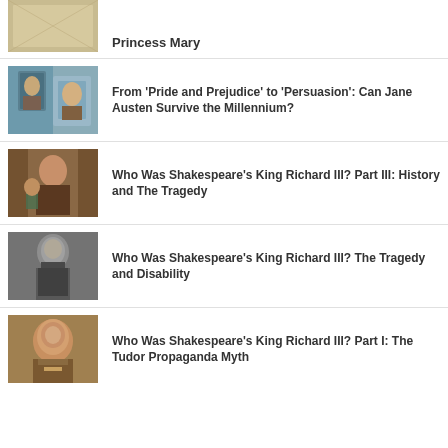[Figure (photo): Partial thumbnail image at top, cropped, appears to be a historical document or portrait]
Princess Mary
[Figure (photo): Painting of a Regency-era domestic interior scene with figures]
From 'Pride and Prejudice' to 'Persuasion': Can Jane Austen Survive the Millennium?
[Figure (photo): Theatrical painting of Shakespeare's King Richard III on stage]
Who Was Shakespeare's King Richard III? Part III: History and The Tragedy
[Figure (photo): Black and white photo of an actor portraying Richard III]
Who Was Shakespeare's King Richard III? The Tragedy and Disability
[Figure (photo): Portrait painting of William Shakespeare]
Who Was Shakespeare's King Richard III? Part I: The Tudor Propaganda Myth